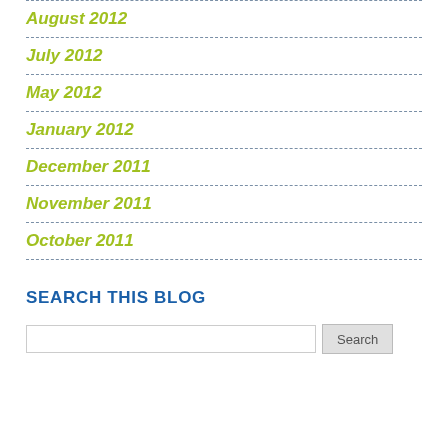August 2012
July 2012
May 2012
January 2012
December 2011
November 2011
October 2011
SEARCH THIS BLOG
Search input box with Search button